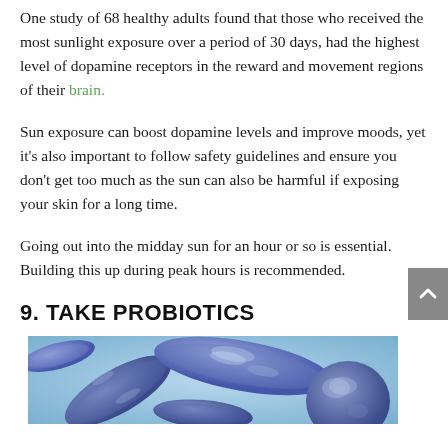One study of 68 healthy adults found that those who received the most sunlight exposure over a period of 30 days, had the highest level of dopamine receptors in the reward and movement regions of their brain.
Sun exposure can boost dopamine levels and improve moods, yet it's also important to follow safety guidelines and ensure you don't get too much as the sun can also be harmful if exposing your skin for a long time.
Going out into the midday sun for an hour or so is essential. Building this up during peak hours is recommended.
9. TAKE PROBIOTICS
[Figure (photo): Close-up photo of blue/purple bacteria or probiotics cells, rod-shaped and spherical, on a light blue background.]